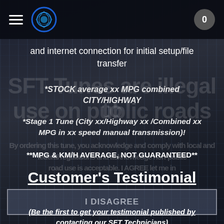Navigation bar with hamburger menu, logo, and badge showing 0
and internet connection for initial setup/file transfer
*STOCK average xx MPG combined CITY/HIGHWAY
*Stage 1 Tune (City xx/Highway xx /Combined xx MPG in xx speed manual transmission)!
**MPG & KM/H AVERAGE, NOT GUARANTEED**
Customer's Testimonial
I DISAGREE
(Be the first to get your testimonial published by contacting our SFT Technicians)